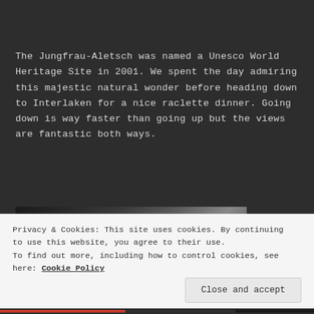The Jungfrau-Aletsch was named a Unesco World Heritage Site in 2001. We spent the day admiring this majestic natural wonder before heading down to Interlaken for a nice raclette dinner. Going down is way faster than going up but the views are fantastic both ways.
[Figure (photo): Partial view of a photograph showing a mountain or landscape scene, mostly obscured by the cookie banner overlay.]
Privacy & Cookies: This site uses cookies. By continuing to use this website, you agree to their use. To find out more, including how to control cookies, see here: Cookie Policy
Close and accept